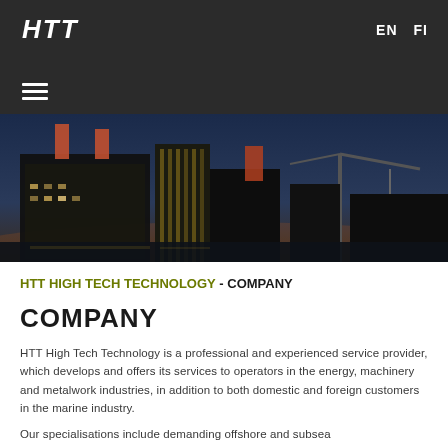HTT | EN | FI
[Figure (photo): Night-time industrial harbor scene showing factory buildings with smokestacks, cranes, and illuminated facilities against a dark blue sky.]
HTT HIGH TECH TECHNOLOGY - COMPANY
COMPANY
HTT High Tech Technology is a professional and experienced service provider, which develops and offers its services to operators in the energy, machinery and metalwork industries, in addition to both domestic and foreign customers in the marine industry.
Our specialisations include demanding offshore and subsea